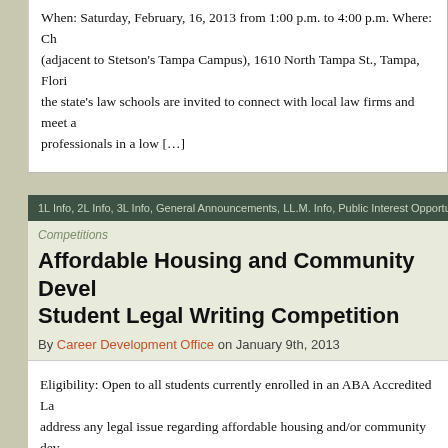When: Saturday, February, 16, 2013 from 1:00 p.m. to 4:00 p.m. Where: Ch (adjacent to Stetson's Tampa Campus), 1610 North Tampa St., Tampa, Flori the state's law schools are invited to connect with local law firms and meet professionals in a low […]
1L Info, 2L Info, 3L Info, General Announcements, LL.M. Info, Public Interest Opportuniti
Competitions
Affordable Housing and Community Devel Student Legal Writing Competition
By Career Development Office on January 9th, 2013
Eligibility: Open to all students currently enrolled in an ABA Accredited La address any legal issue regarding affordable housing and/or community dev Requirements: Entries must be original, unpublished work. Articles should b pages and should include footnotes. The page limit includes the endnotes. H